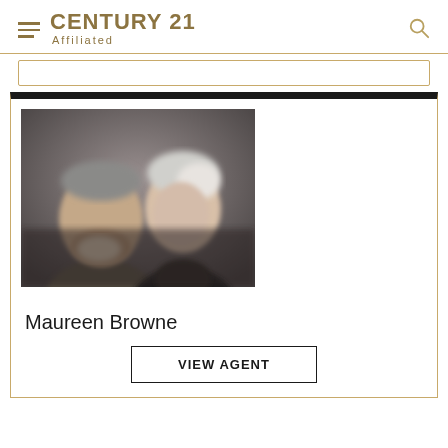CENTURY 21 Affiliated
[Figure (photo): Portrait photo of two people: a man with gray hair and beard on the left, and a woman with short light hair on the right, against a dark background.]
Maureen Browne
VIEW AGENT